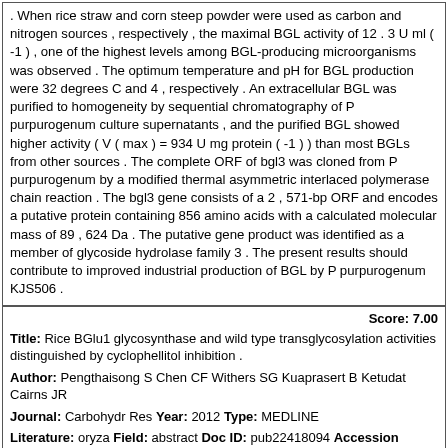. When rice straw and corn steep powder were used as carbon and nitrogen sources , respectively , the maximal BGL activity of 12 . 3 U ml ( -1 ) , one of the highest levels among BGL-producing microorganisms was observed . The optimum temperature and pH for BGL production were 32 degrees C and 4 , respectively . An extracellular BGL was purified to homogeneity by sequential chromatography of P purpurogenum culture supernatants , and the purified BGL showed higher activity ( V ( max ) = 934 U mg protein ( -1 ) ) than most BGLs from other sources . The complete ORF of bgl3 was cloned from P purpurogenum by a modified thermal asymmetric interlaced polymerase chain reaction . The bgl3 gene consists of a 2 , 571-bp ORF and encodes a putative protein containing 856 amino acids with a calculated molecular mass of 89 , 624 Da . The putative gene product was identified as a member of glycoside hydrolase family 3 . The present results should contribute to improved industrial production of BGL by P purpurogenum KJS506 .
Score: 7.00
Title: Rice BGlu1 glycosynthase and wild type transglycosylation activities distinguished by cyclophellitol inhibition .
Author: Pengthaisong S Chen CF Withers SG Kuaprasert B Ketudat Cairns JR
Journal: Carbohydr Res Year: 2012 Type: MEDLINE
Literature: oryza Field: abstract Doc ID: pub22418094 Accession (PMID): 22418094
Abstract: The rice BGlu1 beta-D-glucosidase nucleophile mutant E386G is a glycosynthase that catalyzes the synthesis of cellooligosaccharides from alpha-d-glucopyranosyl fluoride ( GlcF ) donor and p-nitrophenyl ( pNP ) cellobioside ( Glc2-pNP ) or cello-oligosaccharide acceptors .